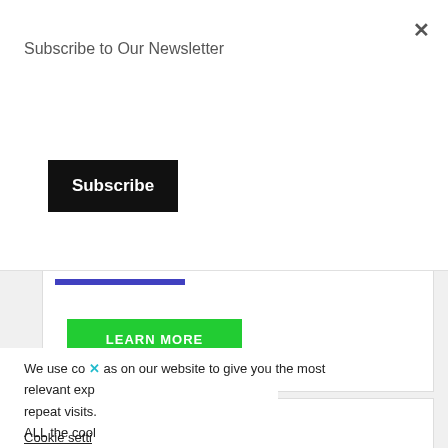Subscribe to Our Newsletter
[Figure (screenshot): Black Subscribe button]
[Figure (screenshot): Blue underline bar above green LEARN MORE button]
[Figure (screenshot): Green LEARN MORE button]
JUMPSTARTER
We use co × as on our website to give you the most relevant exp repeat visits. ALL the cool
Cookie setti